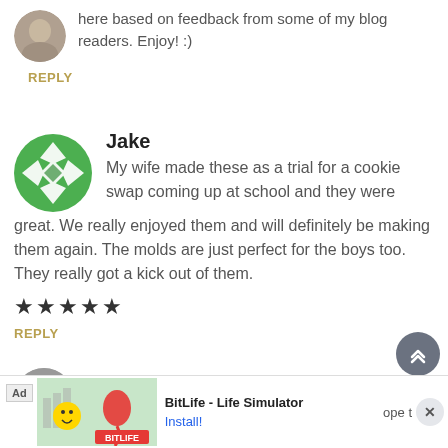here based on feedback from some of my blog readers. Enjoy! :)
REPLY
Jake
My wife made these as a trial for a cookie swap coming up at school and they were great. We really enjoyed them and will definitely be making them again. The molds are just perfect for the boys too. They really got a kick out of them.
★★★★★
REPLY
Audrey